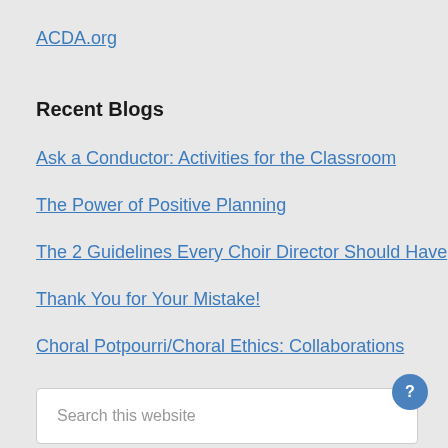ACDA.org
Recent Blogs
Ask a Conductor: Activities for the Classroom
The Power of Positive Planning
The 2 Guidelines Every Choir Director Should Have
Thank You for Your Mistake!
Choral Potpourri/Choral Ethics: Collaborations
Search this website